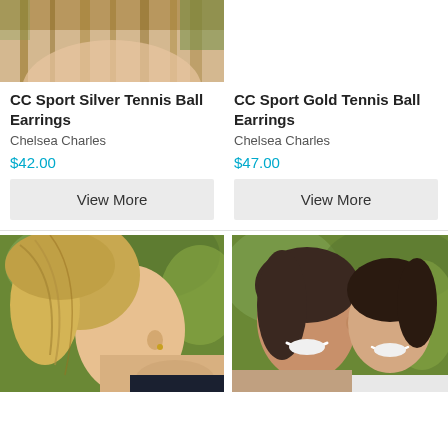[Figure (photo): Close-up photo of the back of a woman's head with brown hair, showing earring area, outdoors with green foliage background. Top portion of product photo for CC Sport Silver Tennis Ball Earrings.]
[Figure (photo): White/empty space for the CC Sport Gold Tennis Ball Earrings top image (not visible in this crop).]
CC Sport Silver Tennis Ball Earrings
CC Sport Gold Tennis Ball Earrings
Chelsea Charles
Chelsea Charles
$42.00
$47.00
View More
View More
[Figure (photo): Profile photo of a blonde woman with ponytail touching her ear showing small gold earring, outdoors with green trees background.]
[Figure (photo): Photo of a smiling woman with dark hair and a young girl with dark hair, both looking at camera, outdoors.]